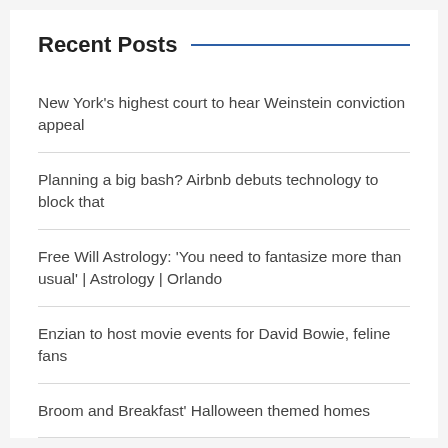Recent Posts
New York’s highest court to hear Weinstein conviction appeal
Planning a big bash? Airbnb debuts technology to block that
Free Will Astrology: ‘You need to fantasize more than usual’ | Astrology | Orlando
Enzian to host movie events for David Bowie, feline fans
Broom and Breakfast’ Halloween themed homes